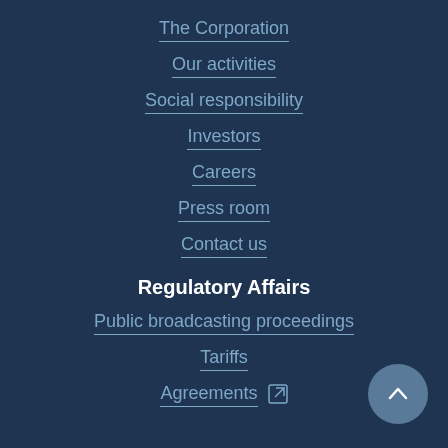The Corporation
Our activities
Social responsibility
Investors
Careers
Press room
Contact us
Regulatory Affairs
Public broadcasting proceedings
Tariffs
Agreements ↗